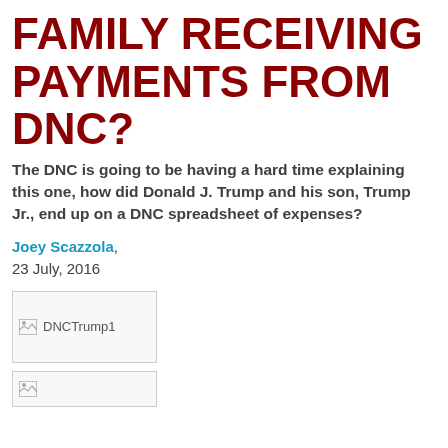FAMILY RECEIVING PAYMENTS FROM DNC?
The DNC is going to be having a hard time explaining this one, how did Donald J. Trump and his son, Trump Jr., end up on a DNC spreadsheet of expenses?
Joey Scazzola,
23 July, 2016
[Figure (photo): Image placeholder labeled DNCTrump1]
[Figure (photo): Second image placeholder (partially visible)]